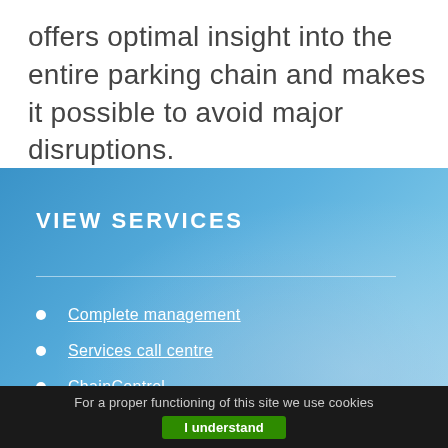offers optimal insight into the entire parking chain and makes it possible to avoid major disruptions.
VIEW SERVICES
Complete management
Services call centre
ChainControl
For a proper functioning of this site we use cookies
I understand